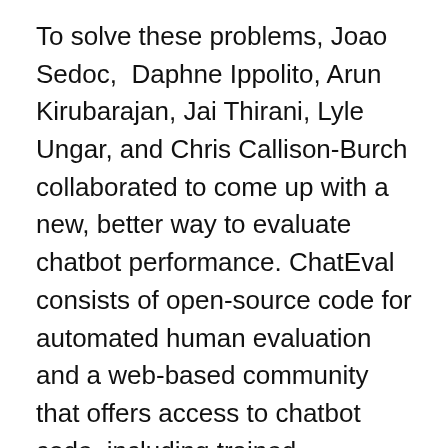To solve these problems, Joao Sedoc, Daphne Ippolito, Arun Kirubarajan, Jai Thirani, Lyle Ungar, and Chris Callison-Burch collaborated to come up with a new, better way to evaluate chatbot performance. ChatEval consists of open-source code for automated human evaluation and a web-based community that offers access to chatbot code, including trained parameters and shared evaluation results. The more people using ChatEval, the better it becomes.
Not surprisingly, Amazon and Facebook have their own chatbot evaluation systems. ChatEval is different in that it deals with the evaluation and warehousing of chatbot models using only text file